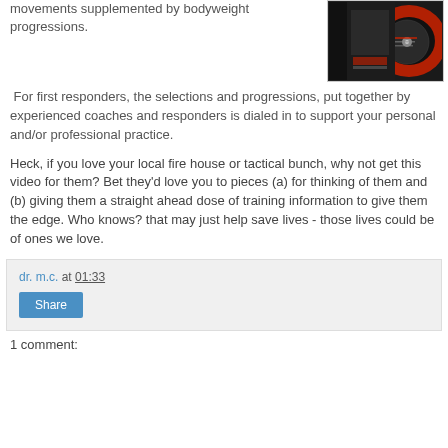movements supplemented by bodyweight progressions.
[Figure (photo): DVD case and disc image with red and black design]
For first responders, the selections and progressions, put together by experienced coaches and responders is dialed in to support your personal and/or professional practice.
Heck, if you love your local fire house or tactical bunch, why not get this video for them? Bet they'd love you to pieces (a) for thinking of them and (b) giving them a straight ahead dose of training information to give them the edge. Who knows? that may just help save lives - those lives could be of ones we love.
dr. m.c. at 01:33
Share
1 comment: